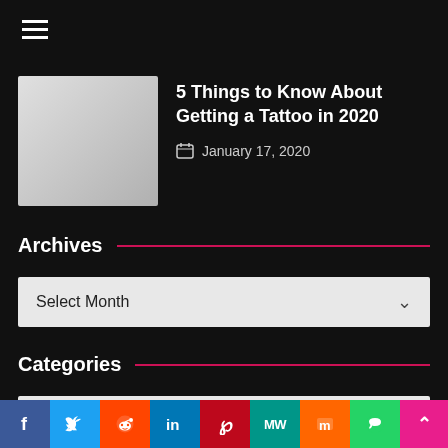≡ (navigation menu icon)
5 Things to Know About Getting a Tattoo in 2020
January 17, 2020
Archives
Select Month
Categories
Select Category